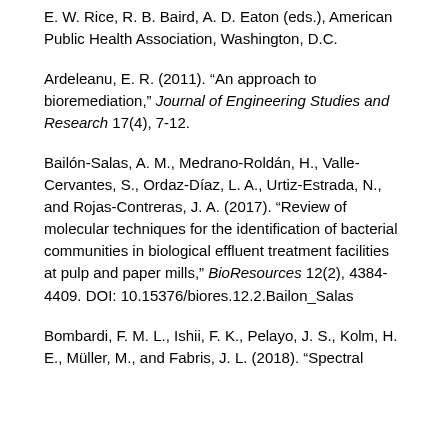E. W. Rice, R. B. Baird, A. D. Eaton (eds.), American Public Health Association, Washington, D.C.
Ardeleanu, E. R. (2011). “An approach to bioremediation,” Journal of Engineering Studies and Research 17(4), 7-12.
Bailón-Salas, A. M., Medrano-Roldán, H., Valle-Cervantes, S., Ordaz-Díaz, L. A., Urtiz-Estrada, N., and Rojas-Contreras, J. A. (2017). “Review of molecular techniques for the identification of bacterial communities in biological effluent treatment facilities at pulp and paper mills,” BioResources 12(2), 4384-4409. DOI: 10.15376/biores.12.2.Bailon_Salas
Bombardi, F. M. L., Ishii, F. K., Pelayo, J. S., Kolm, H. E., Müller, M., and Fabris, J. L. (2018). “Spectral